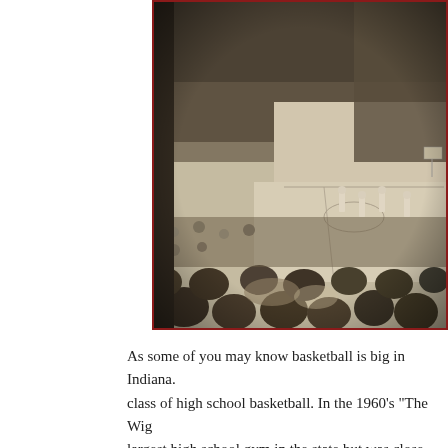[Figure (photo): Black and white photograph of a packed basketball arena, showing a large crowd of spectators in the stands watching a basketball game on the court below. Players are visible on the court. The photo appears to be from the 1960s era.]
As some of you may know basketball is big in Indiana. class of high school basketball. In the 1960's "The Wig largest high school gym in the state but was close with in there along with the ABA Indiana Pacers when the I